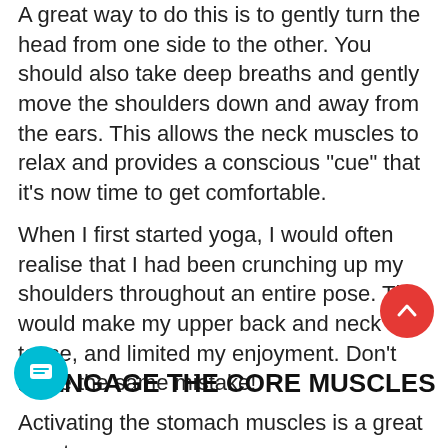A great way to do this is to gently turn the head from one side to the other. You should also take deep breaths and gently move the shoulders down and away from the ears. This allows the neck muscles to relax and provides a conscious “cue” that it’s now time to get comfortable.
When I first started yoga, I would often realise that I had been crunching up my shoulders throughout an entire pose. This would make my upper back and neck tense, and limited my enjoyment. Don’t make the same mistake!
5. ENGAGE THE CORE MUSCLES
Activating the stomach muscles is a great way to